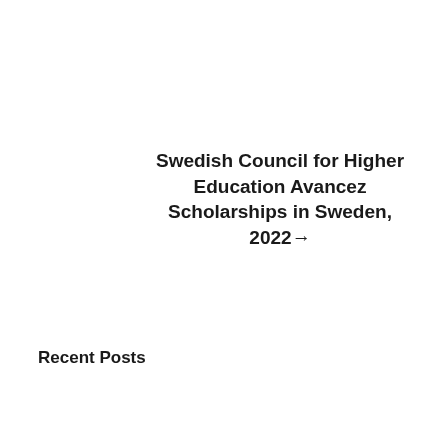Swedish Council for Higher Education Avancez Scholarships in Sweden, 2022→
Recent Posts